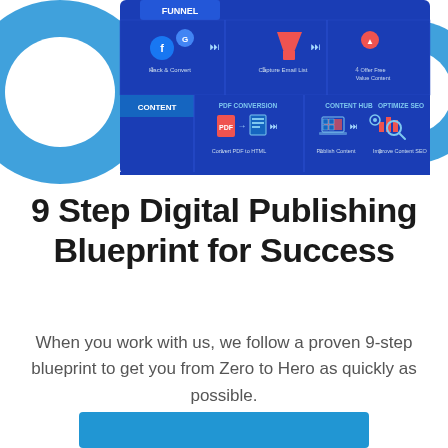[Figure (infographic): A digital publishing funnel/content diagram on a blue background showing a 6-step funnel and 3-step content flow. Labels include: FUNNEL, CONTENT, Hack & Convert (6), Capture Email List (5), Offer Free Value Content (4), PDF CONVERSION (1), CONTENT HUB (2), OPTIMIZE SEO (3), Convert PDF to HTML, Publish Content, Improve Content SEO. Icons include Facebook logo, Google logo, email/funnel icons, PDF icon, laptop, and bar chart with magnifying glass.]
9 Step Digital Publishing Blueprint for Success
When you work with us, we follow a proven 9-step blueprint to get you from Zero to Hero as quickly as possible.